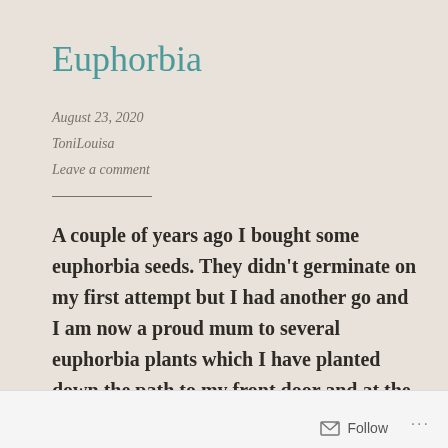Euphorbia
August 23, 2020
ToniLouisa
Leave a comment
A couple of years ago I bought some euphorbia seeds. They didn't germinate on my first attempt but I had another go and I am now a proud mum to several euphorbia plants which I have planted down the path to my front door and at the front of garden borders.
Follow ...